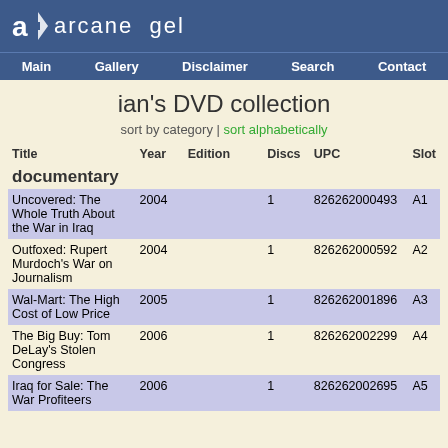arcane gel
Main | Gallery | Disclaimer | Search | Contact
ian's DVD collection
sort by category | sort alphabetically
| Title | Year | Edition | Discs | UPC | Slot |
| --- | --- | --- | --- | --- | --- |
| documentary |  |  |  |  |  |
| Uncovered: The Whole Truth About the War in Iraq | 2004 |  | 1 | 826262000493 | A1 |
| Outfoxed: Rupert Murdoch's War on Journalism | 2004 |  | 1 | 826262000592 | A2 |
| Wal-Mart: The High Cost of Low Price | 2005 |  | 1 | 826262001896 | A3 |
| The Big Buy: Tom DeLay's Stolen Congress | 2006 |  | 1 | 826262002299 | A4 |
| Iraq for Sale: The War Profiteers | 2006 |  | 1 | 826262002695 | A5 |